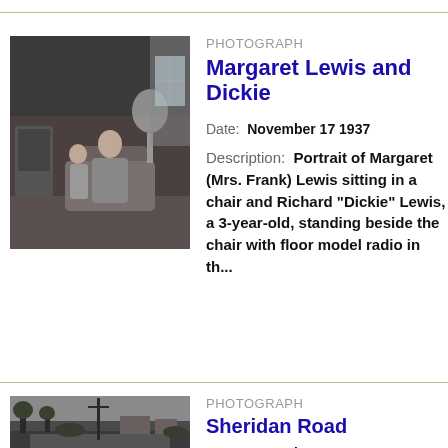[Figure (photo): Black and white photograph of Margaret Lewis seated in an armchair and young child Richard 'Dickie' Lewis standing beside the chair, with a floor model radio visible in the background]
PHOTOGRAPH
Margaret Lewis and Dickie
Date: November 17 1937
Description: Portrait of Margaret (Mrs. Frank) Lewis sitting in a chair and Richard "Dickie" Lewis, a 3-year-old, standing beside the chair with floor model radio in th...
[Figure (photo): Black and white photograph looking northeast on Sheridan Road, showing a road, telephone pole, trees, and buildings in the background]
PHOTOGRAPH
Sheridan Road
Date: November 17 1937
Description: Looking northeast on Sheridan Road